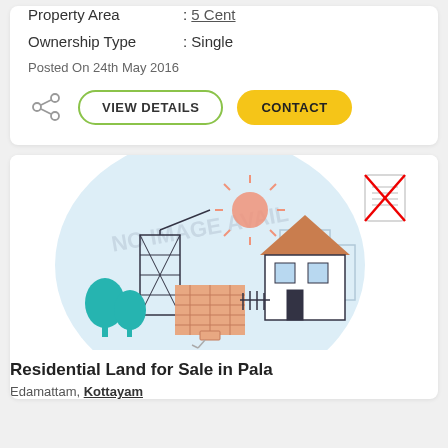Property Area : 5 Cent
Ownership Type : Single
Posted On 24th May 2016
[Figure (illustration): Real estate listing illustration showing a house with brick wall, trees, construction frame, and sun in a light blue circular background with 'NO IMAGE AVAILABLE' watermark text and a document-with-red-cross icon]
Residential Land for Sale in Pala
Edamattam, Kottayam